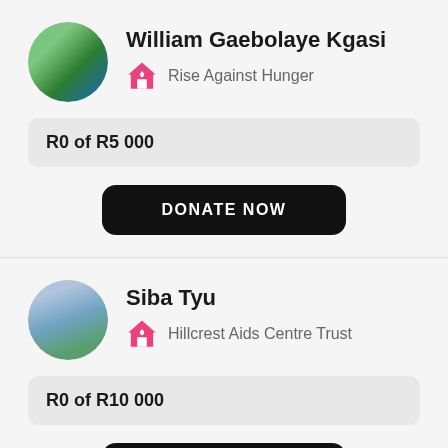William Gaebolaye Kgasi
Rise Against Hunger
R0 of R5 000
DONATE NOW
Siba Tyu
Hillcrest Aids Centre Trust
R0 of R10 000
DONATE NOW